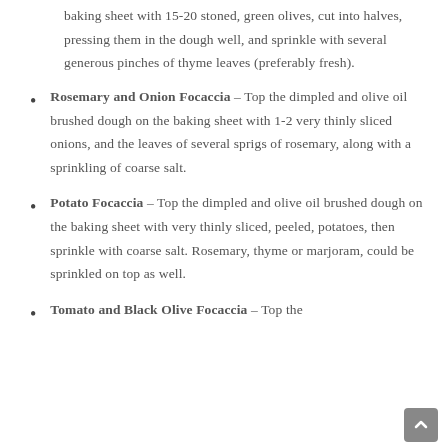baking sheet with 15-20 stoned, green olives, cut into halves, pressing them in the dough well, and sprinkle with several generous pinches of thyme leaves (preferably fresh).
Rosemary and Onion Focaccia – Top the dimpled and olive oil brushed dough on the baking sheet with 1-2 very thinly sliced onions, and the leaves of several sprigs of rosemary, along with a sprinkling of coarse salt.
Potato Focaccia – Top the dimpled and olive oil brushed dough on the baking sheet with very thinly sliced, peeled, potatoes, then sprinkle with coarse salt. Rosemary, thyme or marjoram, could be sprinkled on top as well.
Tomato and Black Olive Focaccia – Top the